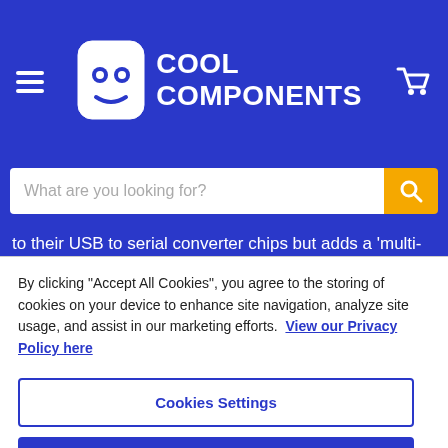[Figure (logo): Cool Components logo with robot face icon and text 'COOL COMPONENTS' on blue header bar with hamburger menu and cart icon]
[Figure (screenshot): Search bar with placeholder text 'What are you looking for?' and yellow search button]
to their USB to serial converter chips but adds a 'multi-
By clicking "Accept All Cookies", you agree to the storing of cookies on your device to enhance site navigation, analyze site usage, and assist in our marketing efforts.  View our Privacy Policy here
Cookies Settings
Reject All
Accept All Cookies